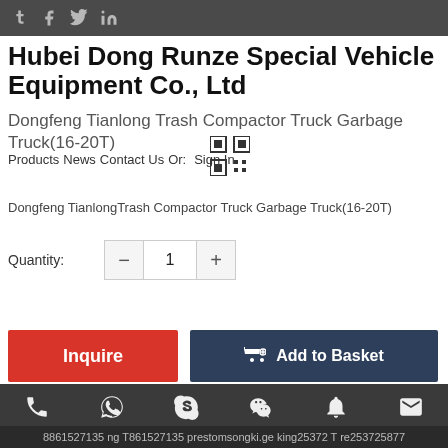Hubei Dong Runze Special Vehicle Equipment Co., Ltd
Dongfeng Tianlong Trash Compactor Truck Garbage Truck(16-20T)
Products  News  Contact Us  Or:  Sign In
Dongfeng TianlongTrash Compactor Truck Garbage Truck(16-20T)
Quantity: 1
Inquire
Add to Basket
Product Description
Technical Data Sheet
8861527135  ng T861527135  prestomsongki.ge  king25372  T re253725877